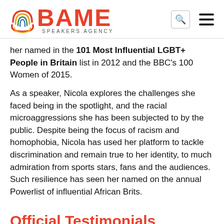BAME SPEAKERS AGENCY
her named in the 101 Most Influential LGBT+ People in Britain list in 2012 and the BBC's 100 Women of 2015.
As a speaker, Nicola explores the challenges she faced being in the spotlight, and the racial microaggressions she has been subjected to by the public. Despite being the focus of racism and homophobia, Nicola has used her platform to tackle discrimination and remain true to her identity, to much admiration from sports stars, fans and the audiences. Such resilience has seen her named on the annual Powerlist of influential African Brits.
Official Testimonials